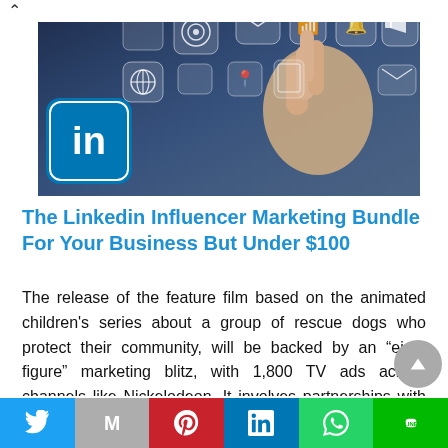[Figure (photo): Hero image showing a LinkedIn logo button on the left and a hand touching a digital screen with social media and communication icons floating in the background (mail, globe, megaphone, mobile, etc.).]
The Linkedin Influencer Marketing Bundle For Your Business But Under $100
The release of the feature film based on the animated children’s series about a group of rescue dogs who protect their community, will be backed by an “eight figure” marketing blitz, with 1,800 TV ads across channels like Nickelodeon. It involves partnerships with almost 200 companies – from Kellogg’s cereal to Best Western hotels – on tie-ins
Twitter | Mail | Pinterest | LinkedIn | WhatsApp | Line